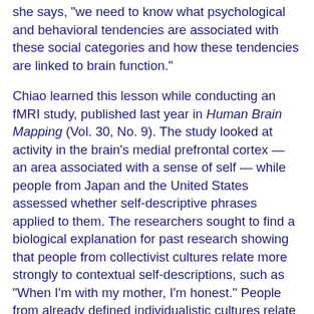she says, "we need to know what psychological and behavioral tendencies are associated with these social categories and how these tendencies are linked to brain function."
Chiao learned this lesson while conducting an fMRI study, published last year in Human Brain Mapping (Vol. 30, No. 9). The study looked at activity in the brain's medial prefrontal cortex — an area associated with a sense of self — while people from Japan and the United States assessed whether self-descriptive phrases applied to them. The researchers sought to find a biological explanation for past research showing that people from collectivist cultures relate more strongly to contextual self-descriptions, such as "When I'm with my mother, I'm honest." People from already defined individualistic cultures relate more strongly to general self-descriptions such as "I'm honest."
When Chiao and her colleagues compared participants along ethnic lines, they saw no